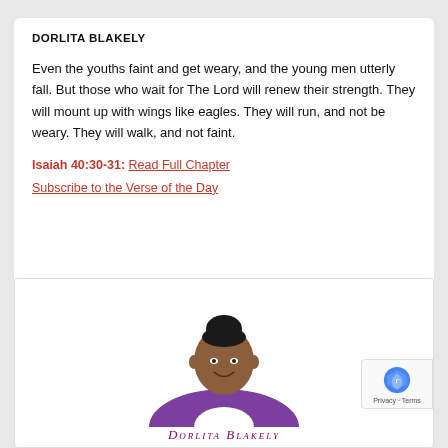DORLITA BLAKELY
Even the youths faint and get weary, and the young men utterly fall. But those who wait for The Lord will renew their strength. They will mount up with wings like eagles. They will run, and not be weary. They will walk, and not faint.
Isaiah 40:30-31: Read Full Chapter
Subscribe to the Verse of the Day
[Figure (photo): Photo of Dorlita Blakely, a woman wearing a purple and white outfit, with her hair up in a bun, smiling at the camera. Below the photo is text reading 'Dorlita Blakely' in decorative small-caps maroon/purple lettering.]